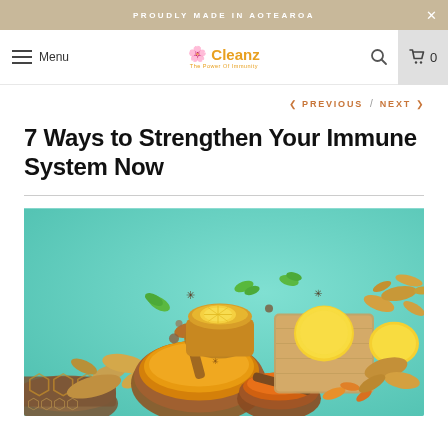PROUDLY MADE IN AOTEAROA
Menu | Cleanz – The Power Of Immunity | Search | Cart 0
< PREVIOUS / NEXT >
7 Ways to Strengthen Your Immune System Now
[Figure (photo): Overhead flat lay photo on teal background showing natural immune-boosting ingredients: ginger root, turmeric powder in wooden bowl, honeycomb, lemon slices, star anise, green leaves, and a cup of golden tea.]